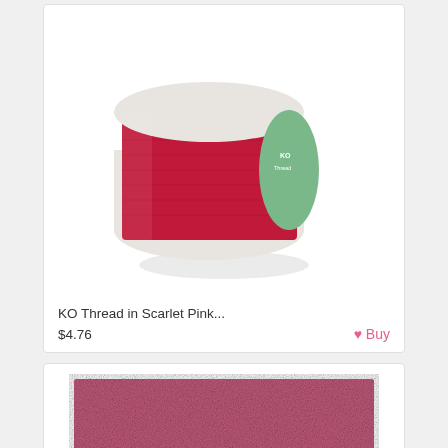[Figure (photo): A spool of KO Thread in scarlet pink/red color, cylindrical spool with green label]
KO Thread in Scarlet Pink...
$4.76
Buy
[Figure (photo): A square swatch of Ultra Suede fabric in dusty rose/pink color, 8.5 x 8.5 inches]
Ultra Suede 8.5 x 8.5 inc...
$8.25
Buy